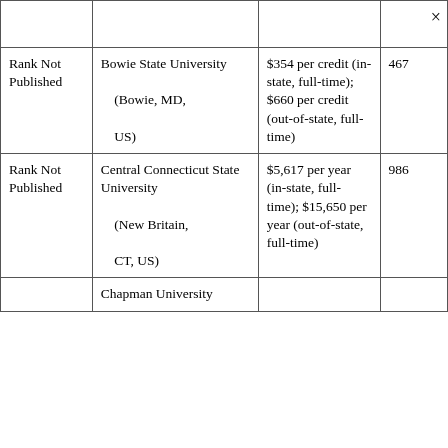| Rank | University | Tuition | Enrollment |
| --- | --- | --- | --- |
|  |  |  | × |
| Rank Not Published | Bowie State University

(Bowie, MD, US) | $354 per credit (in-state, full-time); $660 per credit (out-of-state, full-time) | 467 |
| Rank Not Published | Central Connecticut State University

(New Britain, CT, US) | $5,617 per year (in-state, full-time); $15,650 per year (out-of-state, full-time) | 986 |
|  | Chapman University |  |  |